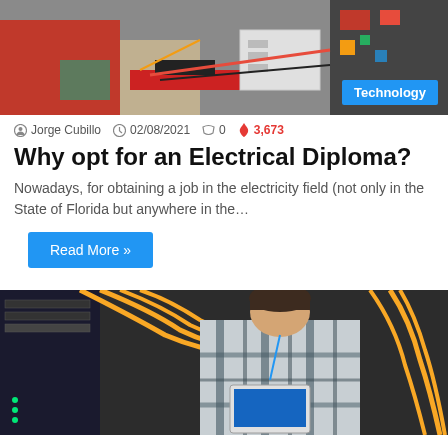[Figure (photo): Electrician in red shirt and gloves working with electrical equipment and tools on a workbench, with a 'Technology' badge overlay in bottom right]
Jorge Cubillo  02/08/2021  0  3,673
Why opt for an Electrical Diploma?
Nowadays, for obtaining a job in the electricity field (not only in the State of Florida but anywhere in the…
Read More »
[Figure (photo): Young man in plaid shirt working in a server room with yellow fiber optic cables and network equipment, looking down at a tablet]